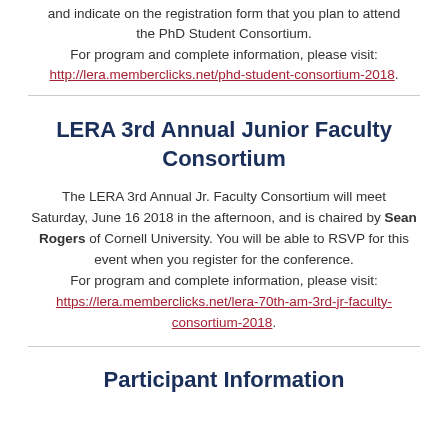and indicate on the registration form that you plan to attend the PhD Student Consortium.
For program and complete information, please visit:
http://lera.memberclicks.net/phd-student-consortium-2018.
LERA 3rd Annual Junior Faculty Consortium
The LERA 3rd Annual Jr. Faculty Consortium will meet Saturday, June 16 2018 in the afternoon, and is chaired by Sean Rogers of Cornell University. You will be able to RSVP for this event when you register for the conference.
For program and complete information, please visit:
https://lera.memberclicks.net/lera-70th-am-3rd-jr-faculty-consortium-2018.
Participant Information